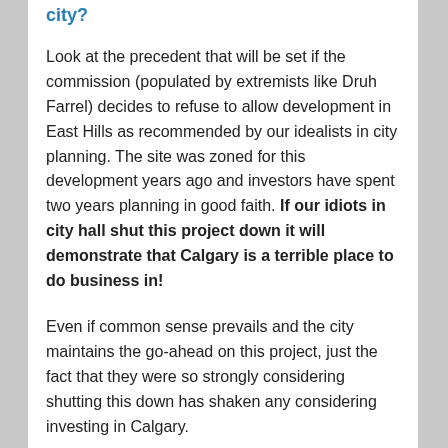city?
Look at the precedent that will be set if the commission (populated by extremists like Druh Farrel) decides to refuse to allow development in East Hills as recommended by our idealists in city planning. The site was zoned for this development years ago and investors have spent two years planning in good faith. If our idiots in city hall shut this project down it will demonstrate that Calgary is a terrible place to do business in!
Even if common sense prevails and the city maintains the go-ahead on this project, just the fact that they were so strongly considering shutting this down has shaken any considering investing in Calgary.
The idiocy knows no bounds though. The zoning demanded “big-box” style development so that small business on “International Avenue” may be protected. Considering that most of the business along 17th Avenue SE consists of pawn-shops, massage parlours and liquor stores, I don’t think there was much